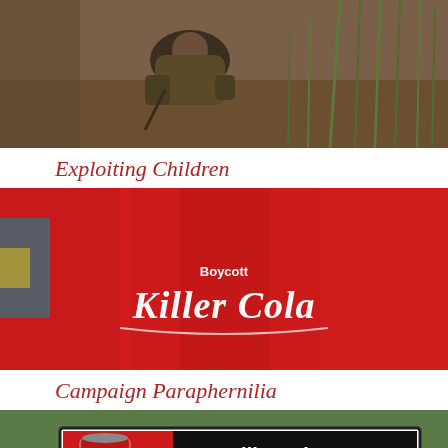[Figure (photo): Child crouching in a field with plants, holding a stick or tool in dirt/soil, outdoor agricultural setting]
Exploiting Children
[Figure (photo): Person wearing a red long-sleeve t-shirt that reads 'Boycott Killer Cola' in the Coca-Cola script style]
Campaign Paraphernilia
[Figure (photo): Billboard or sign showing a Coca-Cola can and text 'KillerCoke.org' with additional protest text partially visible]